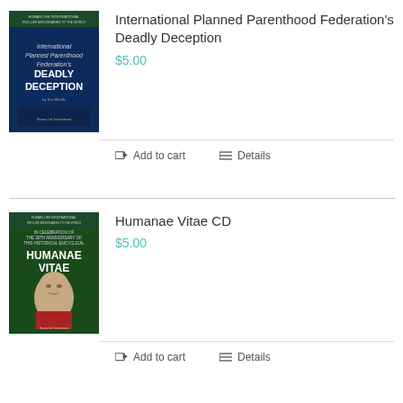[Figure (illustration): Book cover: International Planned Parenthood Federation's Deadly Deception, dark blue cover with title text]
International Planned Parenthood Federation's Deadly Deception
$5.00
Add to cart
Details
[Figure (illustration): Book cover: Humanae Vitae CD, showing an elderly pope's face, green/dark cover]
Humanae Vitae CD
$5.00
Add to cart
Details